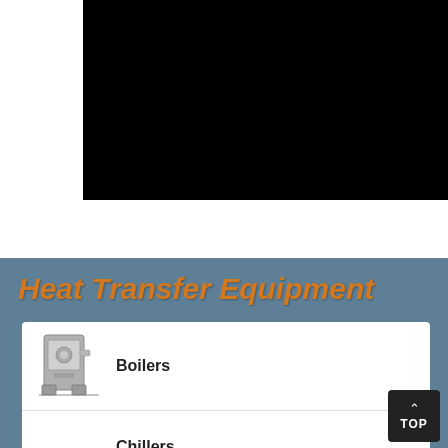[Figure (photo): Black rectangle — product photograph area (obscured/black image)]
Heat Transfer Equipment
[Figure (photo): Small industrial boiler unit photograph]
Boilers
Chillers